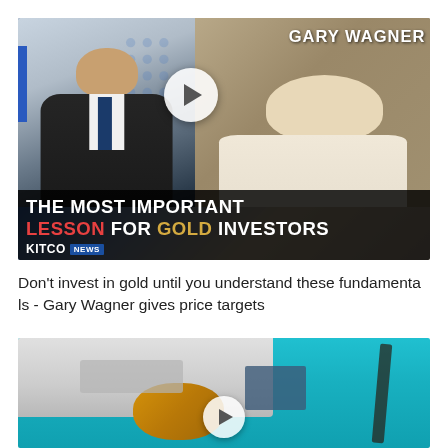[Figure (screenshot): Kitco News video thumbnail showing two people: a man in a suit on the left and Gary Wagner on the right. Title overlay reads 'THE MOST IMPORTANT LESSON FOR GOLD INVESTORS' with Kitco News logo. A play button is visible in the center.]
Don't invest in gold until you understand these fundamentals - Gary Wagner gives price targets
[Figure (screenshot): Video thumbnail showing a close-up of a boat deck with rope and equipment, with turquoise water in the background. A play button is partially visible at the bottom.]